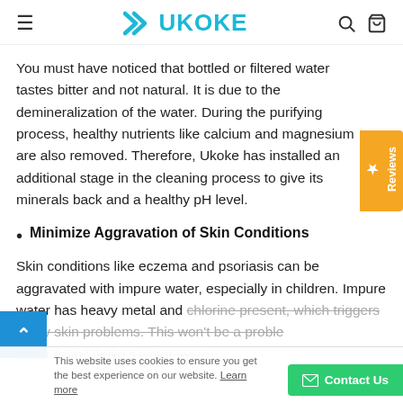UKOKE
You must have noticed that bottled or filtered water tastes bitter and not natural. It is due to the demineralization of the water. During the purifying process, healthy nutrients like calcium and magnesium are also removed. Therefore, Ukoke has installed an additional stage in the cleaning process to give its minerals back and a healthy pH level.
Minimize Aggravation of Skin Conditions
Skin conditions like eczema and psoriasis can be aggravated with impure water, especially in children. Impure water has heavy metal and chlorine present, which triggers many skin problems. This won't be a problem with water from Ukoke's water system.
This website uses cookies to ensure you get the best experience on our website. Learn more